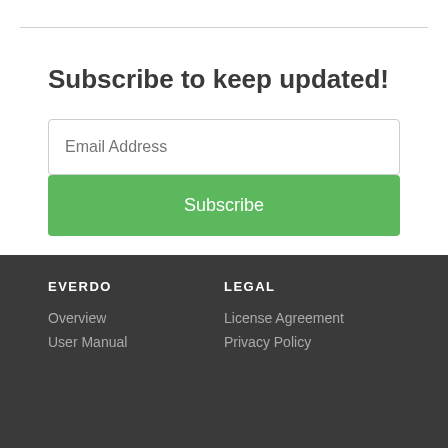Subscribe to keep updated!
Email Address
Subscribe
EVERDO
Overview
User Manual
LEGAL
License Agreement
Privacy Policy